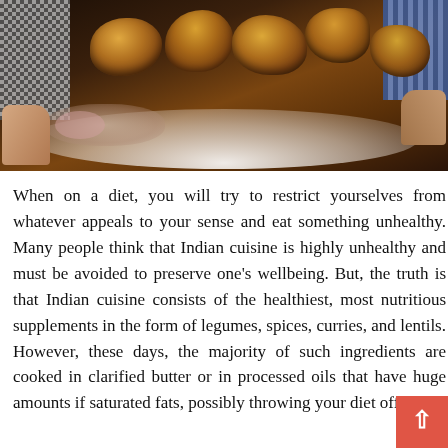[Figure (photo): A person holding a white platter of fried chicken pieces with garnish/salad on the side. The person is wearing a checkered shirt on the left and a plaid/striped shirt on the right.]
When on a diet, you will try to restrict yourselves from whatever appeals to your sense and eat something unhealthy. Many people think that Indian cuisine is highly unhealthy and must be avoided to preserve one's wellbeing. But, the truth is that Indian cuisine consists of the healthiest, most nutritious supplements in the form of legumes, spices, curries, and lentils. However, these days, the majority of such ingredients are cooked in clarified butter or in processed oils that have huge amounts if saturated fats, possibly throwing your diet off rails.